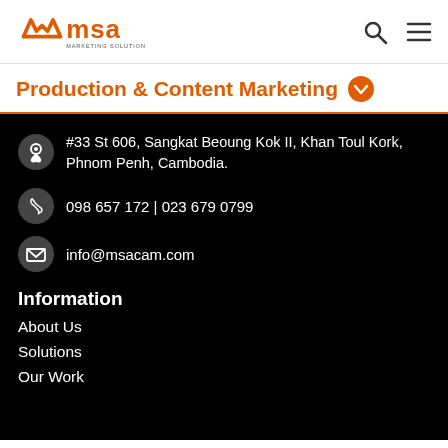MSA Marketing Solutions Asia
Production & Content Marketing
#33 St 606, Sangkat Beoung Kok II, Khan Toul Kork, Phnom Penh, Cambodia.
098 657 172 | 023 679 0799
info@msacam.com
Information
About Us
Solutions
Our Work